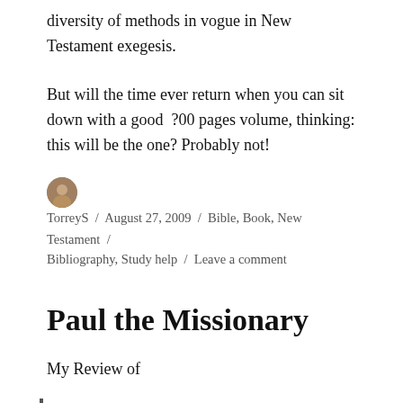diversity of methods in vogue in New Testament exegesis.
But will the time ever return when you can sit down with a good  ?00 pages volume, thinking: this will be the one? Probably not!
TorreyS / August 27, 2009 / Bible, Book, New Testament / Bibliography, Study help / Leave a comment
Paul the Missionary
My Review of
Eckhard J. Schnabel, Paul the Missionary: